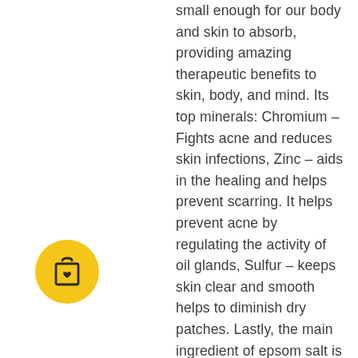small enough for our body and skin to absorb, providing amazing therapeutic benefits to skin, body, and mind. Its top minerals: Chromium – Fights acne and reduces skin infections, Zinc – aids in the healing and helps prevent scarring. It helps prevent acne by regulating the activity of oil glands, Sulfur – keeps skin clear and smooth helps to diminish dry patches. Lastly, the main ingredient of epsom salt is known to have a number of healing properties for the whole body. It helps to relieve stress and ease body with the absorption of magnesium. Aids in relieving foot aches, sore muscles and bruises. The soothing salts exfoliate and repair skin simply by soaking. Wrap your body in this complete body soothing and
[Figure (illustration): Yellow circle with a shopping bag icon featuring a small heart, positioned at lower left]